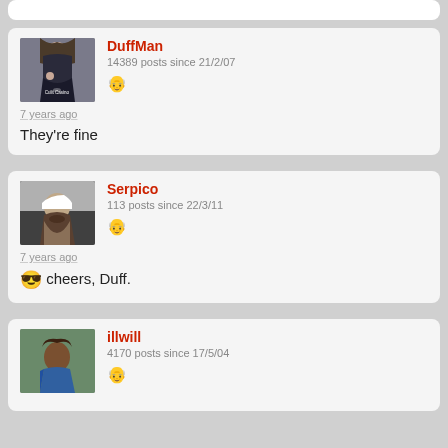[Figure (screenshot): Partial top of a forum post card, white background]
DuffMan
14389 posts since 21/2/07
7 years ago
They're fine
Serpico
113 posts since 22/3/11
7 years ago
😎 cheers, Duff.
illwill
4170 posts since 17/5/04